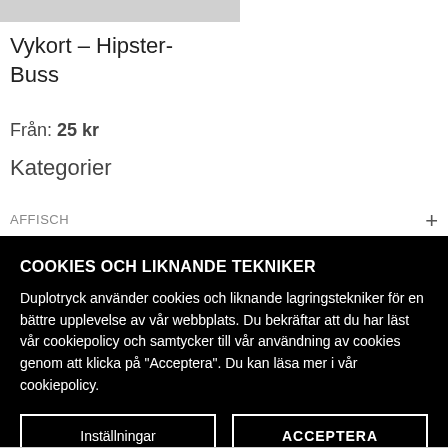[Figure (other): Grey image placeholder at top of product page]
Vykort – Hipster-Buss
Från: 25 kr
Kategorier
AFFISCH +
COOKIES OCH LIKNANDE TEKNIKER
Duplotryck använder cookies och liknande lagringstekniker för en bättre upplevelse av vår webbplats. Du bekräftar att du har läst vår cookiepolicy och samtycker till vår användning av cookies genom att klicka på "Acceptera". Du kan läsa mer i vår cookiepolicy.
Inställningar | ACCEPTERA